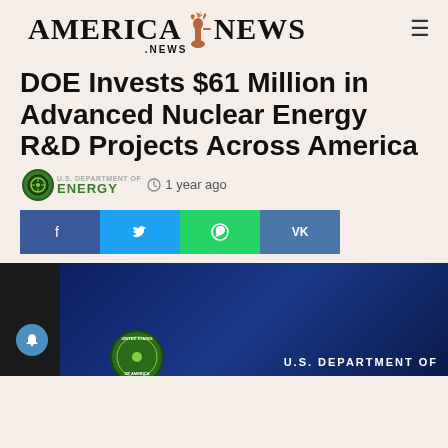AMERICA NEWS .NEWS
DOE Invests $61 Million in Advanced Nuclear Energy R&D Projects Across America
ENERGY  1 year ago
[Figure (screenshot): Social share buttons: Facebook, Twitter, WhatsApp, VK]
[Figure (photo): Dark blue background image with U.S. Department of Energy seal and text 'U.S. DEPARTMENT OF' at bottom]